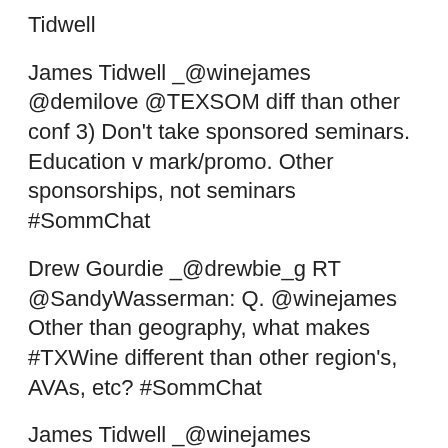Tidwell
James Tidwell _@winejames @demilove @TEXSOM diff than other conf 3) Don't take sponsored seminars. Education v mark/promo. Other sponsorships, not seminars #SommChat
Drew Gourdie _@drewbie_g RT @SandyWasserman: Q. @winejames Other than geography, what makes #TXWine different than other region's, AVAs, etc? #SommChat
James Tidwell _@winejames @JuneRodil Oui! @Trimbach w/Jean Trimbach And @KumeuRiverWines w/ @BrajkovichMJ !!! #SommChat
Tia Butts _@WineInkByTia @KeeperColl late to the